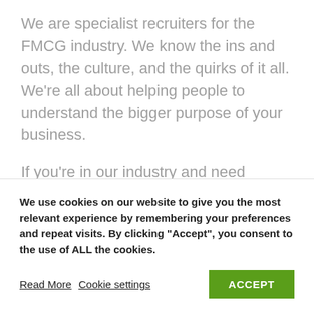We are specialist recruiters for the FMCG industry. We know the ins and outs, the culture, and the quirks of it all. We're all about helping people to understand the bigger purpose of your business.
If you're in our industry and need support with onboarding team members, give our team a shout on, 07920 578 605 or email info@marvelfmcg.co.uk
We use cookies on our website to give you the most relevant experience by remembering your preferences and repeat visits. By clicking "Accept", you consent to the use of ALL the cookies.
Read More  Cookie settings  ACCEPT